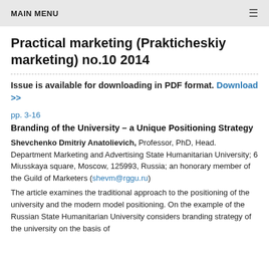MAIN MENU
Practical marketing (Prakticheskiy marketing) no.10 2014
Issue is available for downloading in PDF format. Download >>
pp. 3-16
Branding of the University – a Unique Positioning Strategy
Shevchenko Dmitriy Anatolievich, Professor, PhD, Head. Department Marketing and Advertising State Humanitarian University; 6 Miusskaya square, Moscow, 125993, Russia; an honorary member of the Guild of Marketers (shevm@rggu.ru)
The article examines the traditional approach to the positioning of the university and the modern model positioning. On the example of the Russian State Humanitarian University considers branding strategy of the university on the basis of